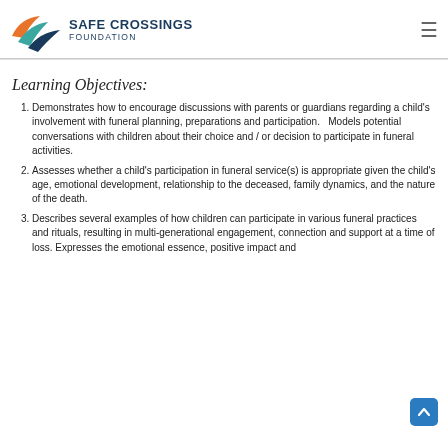[Figure (logo): Safe Crossings Foundation logo with stylized bird/wing mark in orange, teal, and dark blue, alongside organization name]
Learning Objectives:
Demonstrates how to encourage discussions with parents or guardians regarding a child's involvement with funeral planning, preparations and participation.   Models potential conversations with children about their choice and / or decision to participate in funeral activities.
Assesses whether a child's participation in funeral service(s) is appropriate given the child's age, emotional development, relationship to the deceased, family dynamics, and the nature of the death.
Describes several examples of how children can participate in various funeral practices and rituals, resulting in multi-generational engagement, connection and support at a time of loss. Expresses the emotional essence, positive impact and...